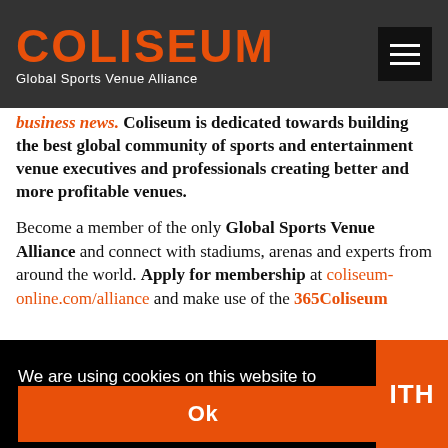COLISEUM — Global Sports Venue Alliance
business news. Coliseum is dedicated towards building the best global community of sports and entertainment venue executives and professionals creating better and more profitable venues.
Become a member of the only Global Sports Venue Alliance and connect with stadiums, arenas and experts from around the world. Apply for membership at coliseum-online.com/alliance and make use of the 365Coliseum
We are using cookies on this website to develop a first-class experience for you.
Learn more
Ok